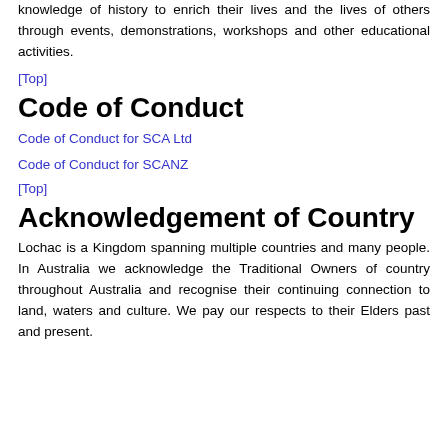knowledge of history to enrich their lives and the lives of others through events, demonstrations, workshops and other educational activities.
[Top]
Code of Conduct
Code of Conduct for SCA Ltd
Code of Conduct for SCANZ
[Top]
Acknowledgement of Country
Lochac is a Kingdom spanning multiple countries and many people. In Australia we acknowledge the Traditional Owners of country throughout Australia and recognise their continuing connection to land, waters and culture. We pay our respects to their Elders past and present.